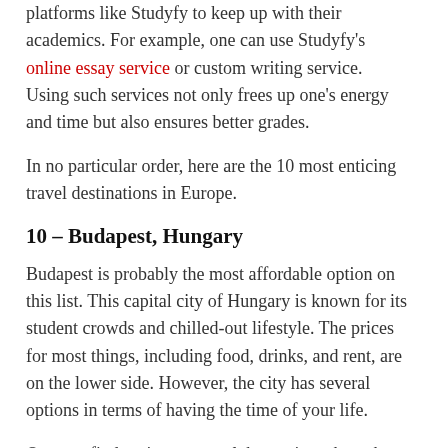platforms like Studyfy to keep up with their academics. For example, one can use Studyfy's online essay service or custom writing service. Using such services not only frees up one's energy and time but also ensures better grades.
In no particular order, here are the 10 most enticing travel destinations in Europe.
10 – Budapest, Hungary
Budapest is probably the most affordable option on this list. This capital city of Hungary is known for its student crowds and chilled-out lifestyle. The prices for most things, including food, drinks, and rent, are on the lower side. However, the city has several options in terms of having the time of your life.
One can find various mega clubs, casinos, karaoke bars, and more here. The city is also home to the famous Frida Kahlo Museum and other cultural and historical sites.
09 – Prague, Czech Republic
Prague is another affordable and mostly student-based location on the list. This capital city of the Czech Republic is known for its